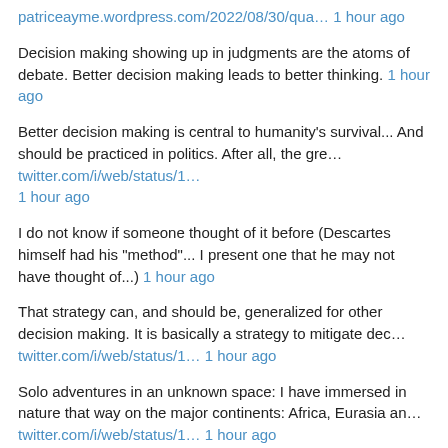patriceayme.wordpress.com/2022/08/30/qua… 1 hour ago
Decision making showing up in judgments are the atoms of debate. Better decision making leads to better thinking. 1 hour ago
Better decision making is central to humanity's survival... And should be practiced in politics. After all, the gre… twitter.com/i/web/status/1… 1 hour ago
I do not know if someone thought of it before (Descartes himself had his "method"... I present one that he may not have thought of...) 1 hour ago
That strategy can, and should be, generalized for other decision making. It is basically a strategy to mitigate dec… twitter.com/i/web/status/1… 1 hour ago
Solo adventures in an unknown space: I have immersed in nature that way on the major continents: Africa, Eurasia an… twitter.com/i/web/status/1… 1 hour ago
…"thinkery"). I cross mountain ranges off the beaten path, and cross country mountain exploration vacate the mind f